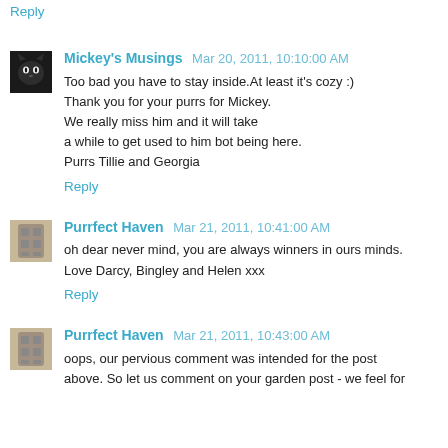Reply
Mickey's Musings  Mar 20, 2011, 10:10:00 AM
Too bad you have to stay inside.At least it's cozy :)
Thank you for your purrs for Mickey.
We really miss him and it will take
a while to get used to him bot being here.
Purrs Tillie and Georgia
Reply
Purrfect Haven  Mar 21, 2011, 10:41:00 AM
oh dear never mind, you are always winners in ours minds.
Love Darcy, Bingley and Helen xxx
Reply
Purrfect Haven  Mar 21, 2011, 10:43:00 AM
oops, our pervious comment was intended for the post above. So let us comment on your garden post - we feel for